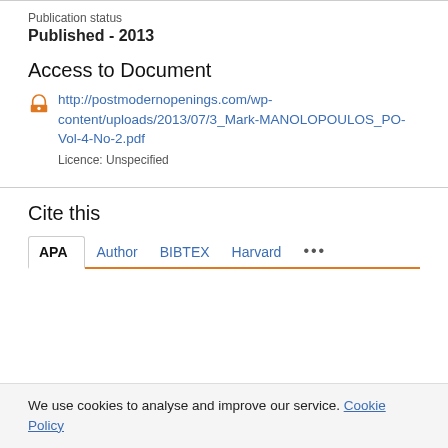Publication status
Published - 2013
Access to Document
http://postmodernopenings.com/wp-content/uploads/2013/07/3_Mark-MANOLOPOULOS_PO-Vol-4-No-2.pdf
Licence: Unspecified
Cite this
APA  Author  BIBTEX  Harvard  ...
We use cookies to analyse and improve our service. Cookie Policy